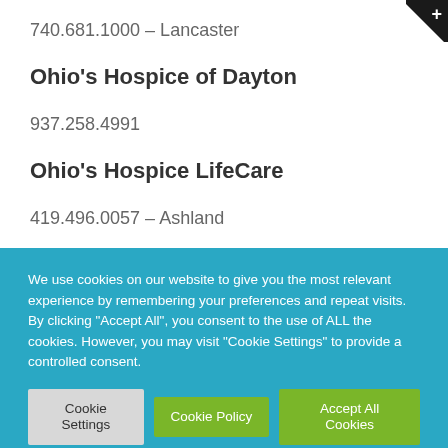740.681.1000 – Lancaster
Ohio's Hospice of Dayton
937.258.4991
Ohio's Hospice LifeCare
419.496.0057 – Ashland
We use cookies on our website to give you the most relevant experience by remembering your preferences and repeat visits. By clicking "Accept All", you consent to the use of ALL the cookies. However, you may visit "Cookie Settings" to provide a controlled consent.
Cookie Settings | Cookie Policy | Accept All Cookies